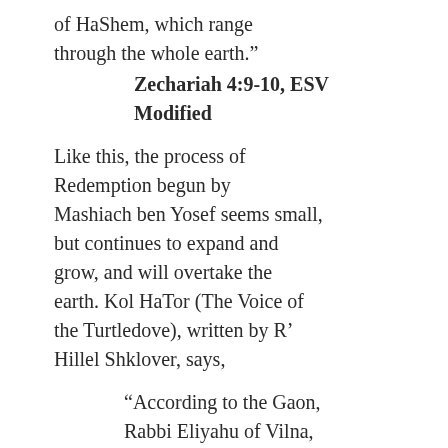of HaShem, which range through the whole earth.”
Zechariah 4:9-10, ESV Modified
Like this, the process of Redemption begun by Mashiach ben Yosef seems small, but continues to expand and grow, and will overtake the earth. Kol HaTor (The Voice of the Turtledove), written by R’ Hillel Shklover, says,
“According to the Gaon, Rabbi Eliyahu of Vilna, below are the seven major principles connected with the approach called the footsteps of the Mashiach,